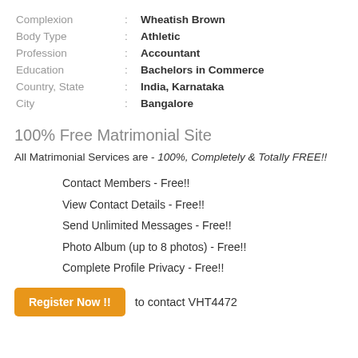| Field | : | Value |
| --- | --- | --- |
| Complexion | : | Wheatish Brown |
| Body Type | : | Athletic |
| Profession | : | Accountant |
| Education | : | Bachelors in Commerce |
| Country, State | : | India, Karnataka |
| City | : | Bangalore |
100% Free Matrimonial Site
All Matrimonial Services are - 100%, Completely & Totally FREE!!
Contact Members - Free!!
View Contact Details - Free!!
Send Unlimited Messages - Free!!
Photo Album (up to 8 photos) - Free!!
Complete Profile Privacy - Free!!
Register Now !! to contact VHT4472